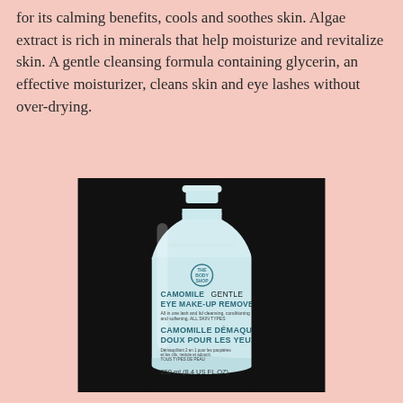for its calming benefits, cools and soothes skin. Algae extract is rich in minerals that help moisturize and revitalize skin. A gentle cleansing formula containing glycerin, an effective moisturizer, cleans skin and eye lashes without over-drying.
[Figure (photo): A bottle of The Body Shop Camomile Gentle Eye Make-Up Remover (also labeled Camomille Démaquillant Doux Pour Les Yeux), 250 ml (8.4 US FL OZ), photographed against a dark background.]